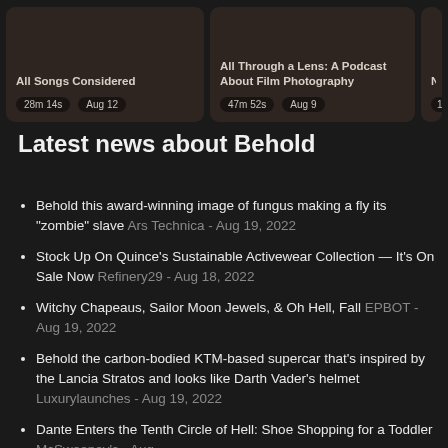[Figure (screenshot): Partial podcast card showing 'All Songs Considered' with duration 28m 14s and date Aug 12]
[Figure (screenshot): Podcast card showing 'All Through a Lens: A Podcast About Film Photography' with duration 47m 52s and date Aug 9]
[Figure (screenshot): Partial podcast card showing duration 1h 5... and partial content]
Latest news about Behold
Behold this award-winning image of fungus making a fly its “zombie” slave Ars Technica - Aug 19, 2022
Stock Up On Quince’s Sustainable Activewear Collection — It’s On Sale Now Refinery29 - Aug 18, 2022
Witchy Chapeaus, Sailor Moon Jewels, & Oh Hell, Fall EPBOT - Aug 19, 2022
Behold the carbon-bodied KTM-based supercar that’s inspired by the Lancia Stratos and looks like Darth Vader’s helmet Luxurylaunches - Aug 19, 2022
Dante Enters the Tenth Circle of Hell: Shoe Shopping for a Toddler McSweeney’s - Aug